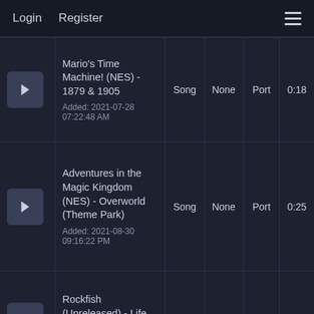Login  Register
|  | Title | Type | Tags | Source | Duration |
| --- | --- | --- | --- | --- | --- |
| ▶ | Mario's Time Machine! (NES) - 1879 & 1905
Added: 2021-07-28 07:22:48 AM | Song | None | Port | 0:18 |
| ▶ | Adventures in the Magic Kingdom (NES) - Overworld (Theme Park)
Added: 2021-08-30 09:16:22 PM | Song | None | Port | 0:25 |
| ▶ | Rockfish (Unreleased) - Life on the Ship
Added: 2022-01-17 ... | Song | Many | Port | 1:03 |